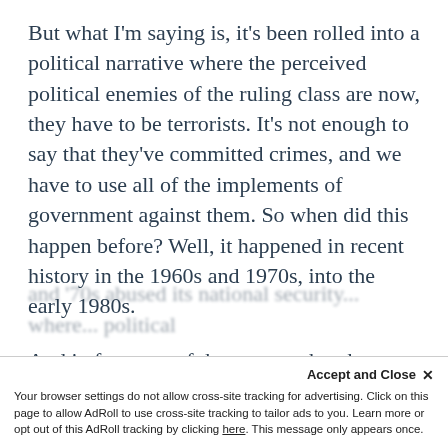But what I'm saying is, it's been rolled into a political narrative where the perceived political enemies of the ruling class are now, they have to be terrorists. It's not enough to say that they've committed crimes, and we have to use all of the implements of government against them. So when did this happen before? Well, it happened in recent history in the 1960s and 1970s, into the early 1980s.
And in fact, one of the reasons that the Foreign Intelligence Surveillance Court was created in 1978 was because the government in the '60s and '70s abused its national security... where... political...
Accept and Close ×
Your browser settings do not allow cross-site tracking for advertising. Click on this page to allow AdRoll to use cross-site tracking to tailor ads to you. Learn more or opt out of this AdRoll tracking by clicking here. This message only appears once.